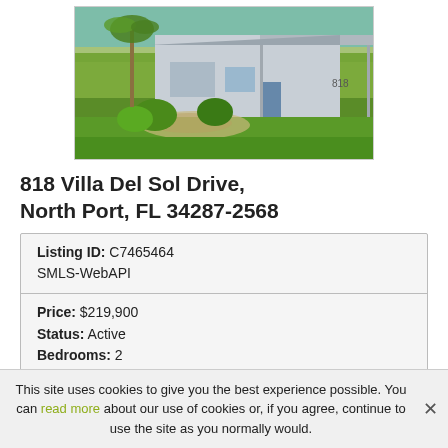[Figure (photo): Exterior photo of a single-story house at 818 Villa Del Sol Drive with green lawn, landscaping, palm tree, and carport]
818 Villa Del Sol Drive, North Port, FL 34287-2568
| Listing ID: C7465464 SMLS-WebAPI |
| Price: $219,900 | Status: Active | Bedrooms: 2 |
This site uses cookies to give you the best experience possible. You can read more about our use of cookies or, if you agree, continue to use the site as you normally would.